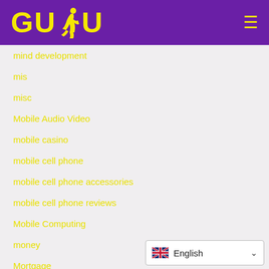[Figure (logo): GUDU logo with yellow text and running figure on purple background, with hamburger menu icon]
mind development
mis
misc
Mobile Audio Video
mobile casino
mobile cell phone
mobile cell phone accessories
mobile cell phone reviews
Mobile Computing
money
Mortgage
mortgage refinance
[Figure (other): Language selector showing UK flag and English text with dropdown chevron]